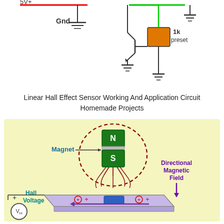[Figure (circuit-diagram): Top portion of a circuit diagram showing 5V+ power rail (red line), ground symbols (Gnd), green power line, and a 1k preset potentiometer component (orange box) with transistor symbol and ground connections.]
Linear Hall Effect Sensor Working And Application Circuit Homemade Projects
[Figure (engineering-diagram): Hall Effect sensor diagram with yellow background showing: a magnet (green N pole on top, green S pole on bottom with gray divider) with magnetic field lines shown as dashed red oval, labeled 'Magnet' with arrow pointing to it. A purple arrow on the right labeled 'Directional Magnetic Field' pointing downward. Below is a purple/lavender rectangular Hall effect sensor plate with positive charge carriers (+) markers on top surface, a blue rectangle in center, and a left-pointing purple arrow indicating current flow. On the left side is a voltmeter circle labeled 'VH' with + terminal marked, and text 'Hall Voltage' in cyan/blue. Magnetic field lines radiating from the south pole of the magnet are shown in dark red/maroon.]